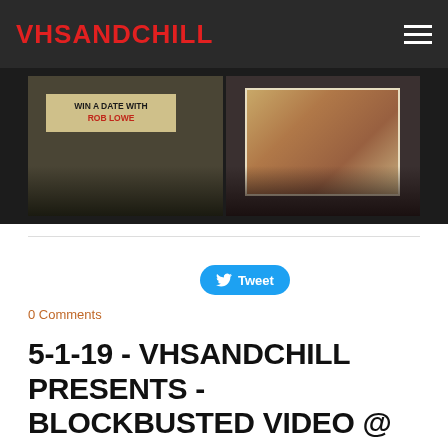VHSANDCHILL
[Figure (photo): Two side-by-side photos of an event screening: left photo shows audience watching a projected screen reading 'WIN A DATE WITH ROB LOWE'; right photo shows audience watching a projected scene of two people at a table.]
Tweet
0 Comments
5-1-19 - VHSANDCHILL PRESENTS - BLOCKBUSTED VIDEO @ THE